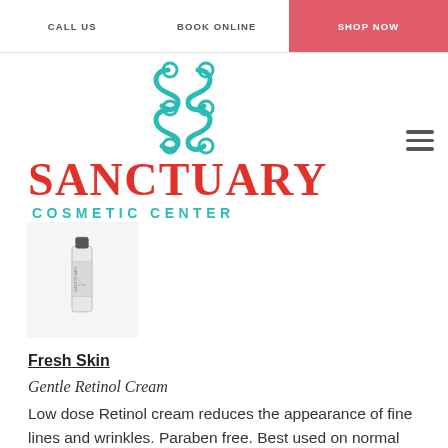CALL US   BOOK ONLINE   SHOP NOW
[Figure (logo): Sanctuary Cosmetic Center logo with teal S-shaped symbol and red SANCTUARY text with teal COSMETIC CENTER subtitle]
[Figure (photo): Sanctuary branded skincare tube product photo on light background]
Fresh Skin
Gentle Retinol Cream
Low dose Retinol cream reduces the appearance of fine lines and wrinkles. Paraben free. Best used on normal and dry